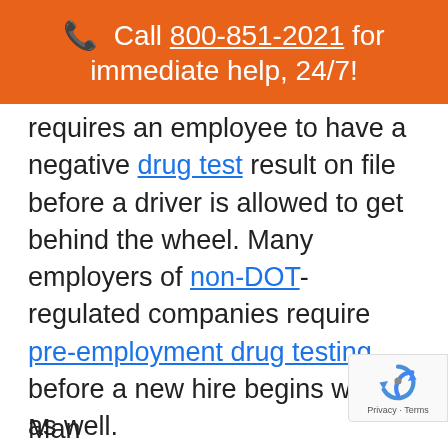📞 Call 800-851-2021 for immediate help, 24/7!
requires an employee to have a negative drug test result on file before a driver is allowed to get behind the wheel. Many employers of non-DOT-regulated companies require pre-employment drug testing before a new hire begins work as well.
Random drug testing
[partially visible bottom text]